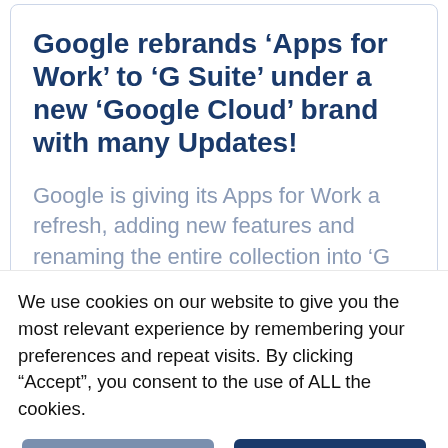Google rebrands ‘Apps for Work’ to ‘G Suite’ under a new ‘Google Cloud’ brand with many Updates!
Google is giving its Apps for Work a refresh, adding new features and renaming the entire collection into ‘G Suite.’ Google says the new name better reflects its mission to
We use cookies on our website to give you the most relevant experience by remembering your preferences and repeat visits. By clicking “Accept”, you consent to the use of ALL the cookies.